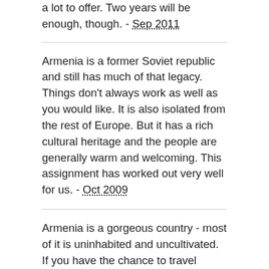a lot to offer. Two years will be enough, though. - Sep 2011
Armenia is a former Soviet republic and still has much of that legacy. Things don't always work as well as you would like. It is also isolated from the rest of Europe. But it has a rich cultural heritage and the people are generally warm and welcoming. This assignment has worked out very well for us. - Oct 2009
Armenia is a gorgeous country - most of it is uninhabited and uncultivated. If you have the chance to travel outside the capital city, take advantage of that chance. It is important to remember that (un)officially there are 1.8 million Armenians actually living IN Armenia and 10+ million living outside Armenia (US, Russia, France, etc.).The existence of this Diaspora shadows and complicates everything that happens in Armenia and explains the sometimes odd situation of